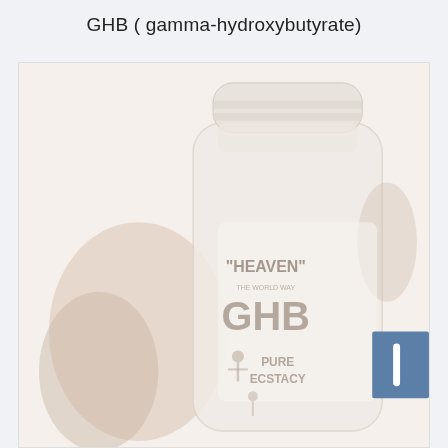GHB ( gamma-hydroxybutyrate)
[Figure (photo): A faded/washed-out photo of a plastic pill bottle with a white cap, held by a hand. The label on the bottle reads '"HEAVEN"' at the top, then 'GHB' in large letters, then 'PURE ECSTACY' below. A blue scrollbar button is visible in the lower right corner of the image frame.]